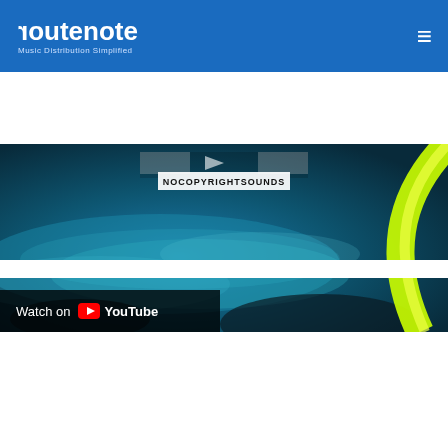routenote — Music Distribution Simplified
[Figure (screenshot): YouTube video thumbnail showing NoCopyrightSounds underwater/wave visual with 'Watch on YouTube' bar at bottom]
[Figure (screenshot): NCS YouTube video thumbnail for 'Electro-Light - Symbolism [NCS Release]' with NCS logo and dark background with green light]